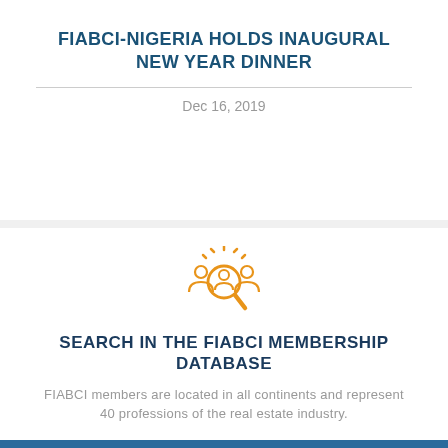FIABCI-NIGERIA HOLDS INAUGURAL NEW YEAR DINNER
Dec 16, 2019
[Figure (illustration): Orange icon of people with a magnifying glass depicting member search]
SEARCH IN THE FIABCI MEMBERSHIP DATABASE
FIABCI members are located in all continents and represent 40 professions of the real estate industry.
ACCESS MEMBER SEARCH